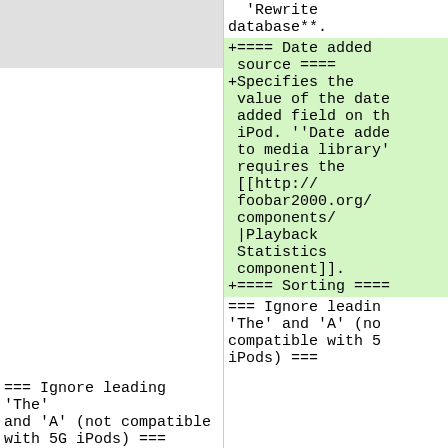(gray box - left column top)
'Rewrite database**.
+==== Date added source ====
+Specifies the value of the date added field on th iPod. ''Date adde to media library' requires the [[http://foobar2000.org/components/|Playback Statistics component]].
+==== Sorting ====
=== Ignore leading 'The' and 'A' (not compatible with 5G iPods) ===
=== Ignore leadin 'The' and 'A' (no compatible with 5 iPods) ===